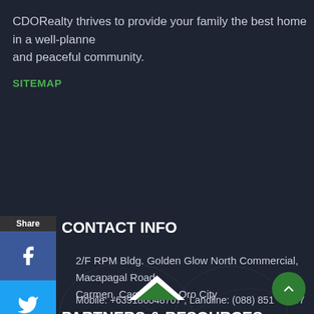CDORealty thrives to provide your family the best home in a well-planned and peaceful community.
SITEMAP
CONTACT INFO
2/F RPM Bldg. Golden Glow North Commercial, Macapagal Road Carmen, Cagayan de Oro City
Mobile: +639186048707 , Landline: (088) 851 - 8947
info@cdorealty.com
PARTNERS & RESOURCES
[Figure (logo): CDORealty logo with green rooftop icon at bottom center]